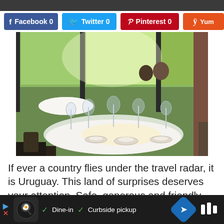[Figure (screenshot): Top dark navigation strip at the top of a webpage]
[Figure (infographic): Social sharing buttons row: Facebook 0, Twitter 0, Pinterest 0, Yummly (partially visible)]
[Figure (photo): Interior of a restaurant with round tables set with white tablecloths, wine glasses, and plates. Large windows overlook green trees. Two people visible seated in the background.]
If ever a country flies under the travel radar, it is Uruguay. This land of surprises deserves your attention. Safe, generous and friendly people, great food, especially if you are into
[Figure (screenshot): Bottom ad bar showing: ad arrow, chef logo, Dine-in checkmark, Curbside pickup checkmark, navigation arrow icon, and a logo with sound wave bars]